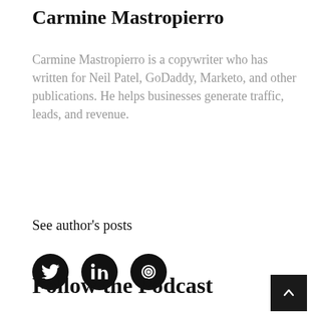Carmine Mastropierro
Carmine Mastropierro is a copywriter who has written for Neil Patel, GoDaddy, Marketo, and other publications. He helps businesses generate traffic, leads, and revenue.
See author's posts
[Figure (other): Three circular black social media icons: Twitter, LinkedIn, and Copper (or similar)]
Follow the Podcast